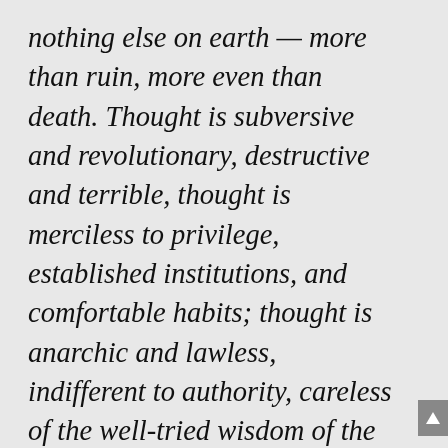nothing else on earth — more than ruin, more even than death. Thought is subversive and revolutionary, destructive and terrible, thought is merciless to privilege, established institutions, and comfortable habits; thought is anarchic and lawless, indifferent to authority, careless of the well-tried wisdom of the ages. Thought looks into the pit of hell and ilis not afraid ... Thought is great and swift and free, the light of the world, and the chief glory of